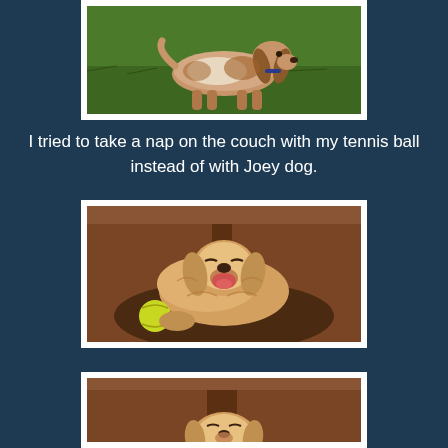[Figure (photo): A brown and white cocker spaniel dog standing on green grass, viewed from the side]
I tried to take a nap on the couch with my tennis ball instead of with Joey dog.
[Figure (photo): A golden/tan fluffy dog lying on a brown leather couch with a yellow tennis ball, mouth open, on a brown blanket]
[Figure (photo): A golden/tan fluffy dog lying on a brown leather couch, partially visible at bottom of page]